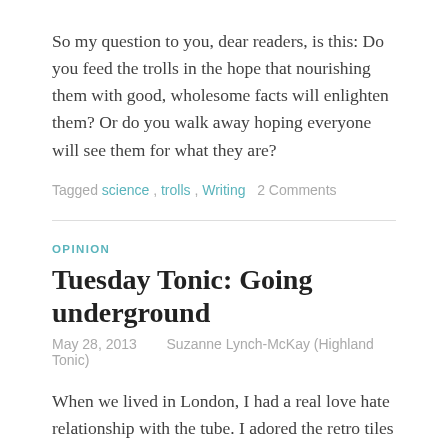So my question to you, dear readers, is this: Do you feed the trolls in the hope that nourishing them with good, wholesome facts will enlighten them? Or do you walk away hoping everyone will see them for what they are?
Tagged science, trolls, Writing   2 Comments
OPINION
Tuesday Tonic: Going underground
May 28, 2013   Suzanne Lynch-McKay (Highland Tonic)
When we lived in London, I had a real love hate relationship with the tube. I adored the retro tiles still visible in some stations, enjoyed the architecture when I had a moment to stand and stare and marvelled at the ginormous feats of